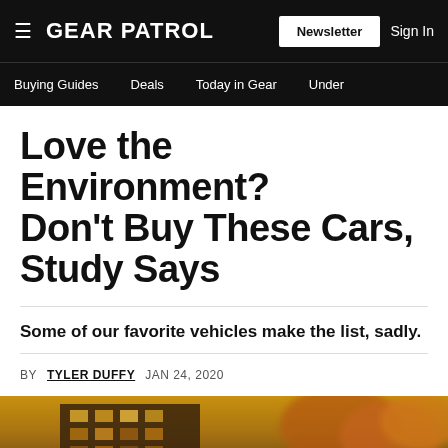GEAR PATROL — Newsletter | Sign In | Buying Guides | Deals | Today in Gear | Under
Love the Environment? Don't Buy These Cars, Study Says
Some of our favorite vehicles make the list, sadly.
BY TYLER DUFFY   JAN 24, 2020
[Figure (photo): Blurred photo of a building exterior with autumn trees in warm golden/orange tones]